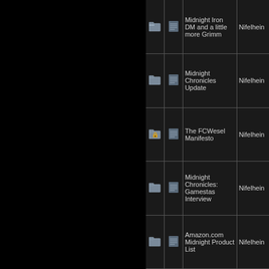|  |  | Name | Author |
| --- | --- | --- | --- |
| [folder] | [list] | Midnight Iron DM and a little more Grimm | Nifelhein |
| [folder] | [list] | Midnight Chronicles Update | Nifelhein |
| [locked-folder] | [list] | The FCWesel Manifesto | Nifelhein |
| [folder] | [list] | Midnight Chronicles: Gamestas Interview | Nifelhein |
| [folder] | [list] | Amazon.com Midnight Product List | Nifelhein |